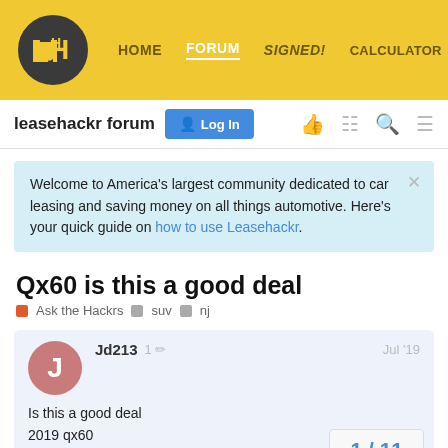HOME  FORUM  SIGNED!  CALCULATOR
leasehackr forum  Log In
Welcome to America's largest community dedicated to car leasing and saving money on all things automotive. Here's your quick guide on how to use Leasehackr.
Qx60 is this a good deal
Ask the Hackrs  suv  nj
Jd213  1  Jul '19
Is this a good deal
2019 qx60
Msrp: 59,230
1 / 11